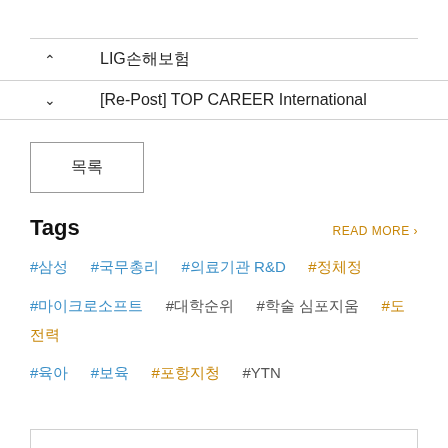LIG손해보험
[Re-Post] TOP CAREER International
목록
Tags
READ MORE >
#삼성  #국무총리  #의료기관 R&D  #정체정
#마이크로소프트  #대학순위  #학술 심포지움  #도전력
#육아  #보육  #포항지청  #YTN